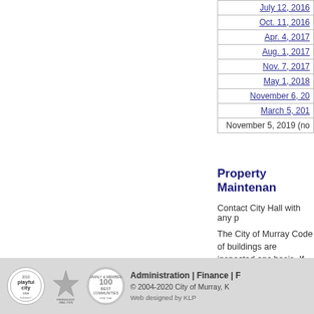| July 12, 2016 |
| Oct. 11, 2016 |
| Apr. 4, 2017 |
| Aug. 1, 2017 |
| Nov. 7, 2017 |
| May 1, 2018 |
| November 6, 20... |
| March 5, 201... |
| November 5, 2019 (no... |
Property Maintenan...
Contact City Hall with any p...
The City of Murray Code of ... buildings are inspected onc... basis. If an inspection is des... with a building in the City of... Miller (270) 762-0350 x1135...
[Figure (logo): 2010 Playful City USA logo - circular badge]
[Figure (logo): Friendliest Small Town in America logo - star design, Cosmopolitan + USA Today]
[Figure (logo): 100 Best Communities badge - circular]
Administration | Finance | F... © 2004-2020 City of Murray, K... Web designed by KLP